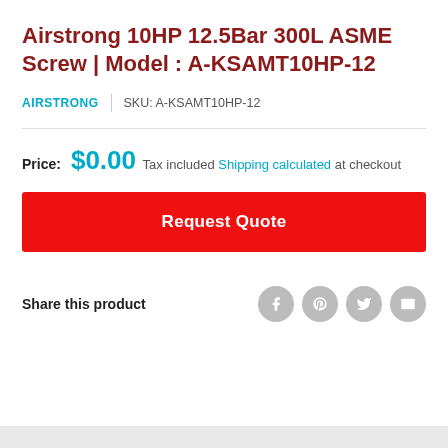Airstrong 10HP 12.5Bar 300L ASME Screw | Model : A-KSAMT10HP-12
AIRSTRONG | SKU: A-KSAMT10HP-12
Price: $0.00
Tax included Shipping calculated at checkout
Request Quote
Share this product